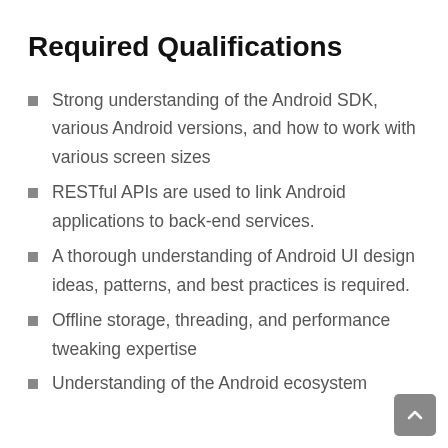Required Qualifications
Strong understanding of the Android SDK, various Android versions, and how to work with various screen sizes
RESTful APIs are used to link Android applications to back-end services.
A thorough understanding of Android UI design ideas, patterns, and best practices is required.
Offline storage, threading, and performance tweaking expertise
Understanding of the Android ecosystem